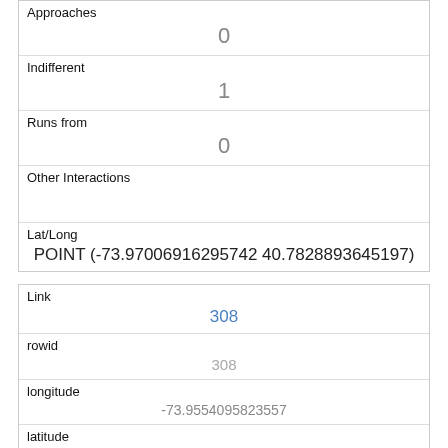| Approaches | 0 |
| Indifferent | 1 |
| Runs from | 0 |
| Other Interactions |  |
| Lat/Long | POINT (-73.97006916295742 40.7828893645197) |
| Link | 308 |
| rowid | 308 |
| longitude | -73.9554095823557 |
| latitude | 40.7887305802 04394 |
| Unique Squirrel ID | 32I-AM-1013-01 |